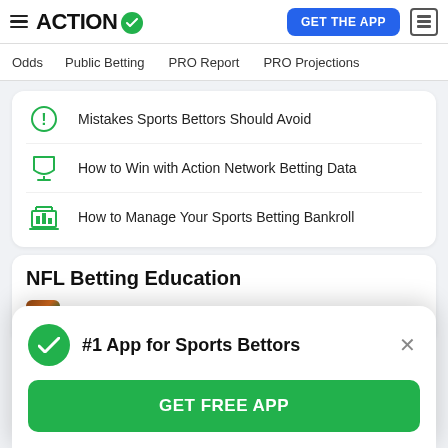ACTION (logo with checkmark) | GET THE APP | News icon
Odds | Public Betting | PRO Report | PRO Projections
Mistakes Sports Bettors Should Avoid
How to Win with Action Network Betting Data
How to Manage Your Sports Betting Bankroll
NFL Betting Education
Teaser
#1 App for Sports Bettors
GET FREE APP